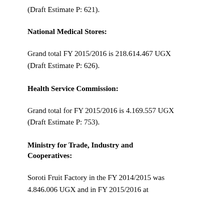(Draft Estimate P: 621).
National Medical Stores:
Grand total FY 2015/2016 is 218.614.467 UGX (Draft Estimate P: 626).
Health Service Commission:
Grand total for FY 2015/2016 is 4.169.557 UGX (Draft Estimate P: 753).
Ministry for Trade, Industry and Cooperatives:
Soroti Fruit Factory in the FY 2014/2015 was 4.846.006 UGX and in FY 2015/2016 at